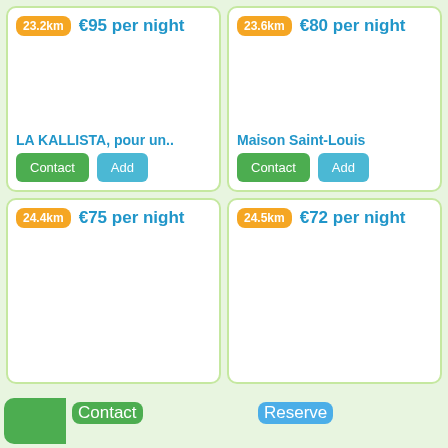[Figure (screenshot): Card 1: 23.2km badge, €95 per night price, LA KALLISTA pour un.. listing with Contact and Add buttons]
[Figure (screenshot): Card 2: 23.6km badge, €80 per night price, Maison Saint-Louis listing with Contact and Add buttons]
[Figure (screenshot): Card 3: 24.4km badge, €75 per night price, listing with no name visible, no buttons]
[Figure (screenshot): Card 4: 24.5km badge, €72 per night price, listing with no name visible, no buttons]
Contact
Reserve